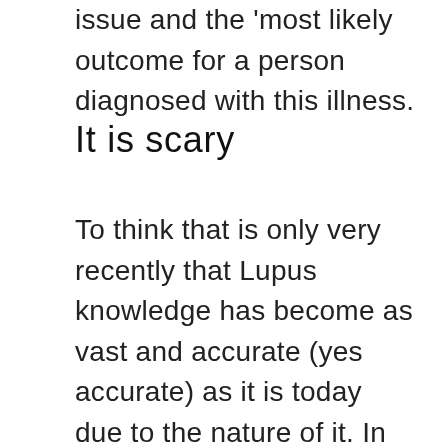issue and the 'most likely outcome for a person diagnosed with this illness.
It is scary
To think that is only very recently that Lupus knowledge has become as vast and accurate (yes accurate) as it is today due to the nature of it. In the past Lupus and other similar disease were all confused because it falls under the medical category of a mixed connective tissue disease meaning that the connective tissues of multiple systems of the body were affected. This is not as common as you may think, generally the systems keep to themselves and barely bother each other, like neighbours in a built up suburban area. It becomes a major issue when